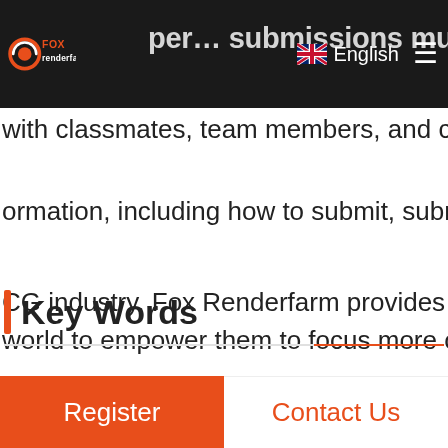Fox Renderfarm — navigation bar with logo, English language selector, and hamburger menu
per… submissions must be received by 31 July, 2020, …
with classmates, team members, and colleagues – SACAF…
ormation, including how to submit, submission rules and r…
CG industry, Fox Renderfarm provides fast and secure re… world to empower them to focus more on creation.
g, Fox Renderfarm hopes to see you at SIGGRAPH Asia 20… s coming November!
Key Words
Register | Contact Us